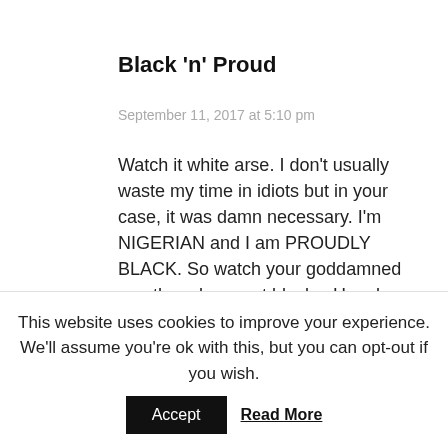Black 'n' Proud
September 11, 2017 at 5:10 pm
Watch it white arse. I don't usually waste my time in idiots but in your case, it was damn necessary. I'm NIGERIAN and I am PROUDLY BLACK. So watch your goddamned mouth and respect blacks. Hey do you know you're beloved JESUS was an EGYPTIAN? What were you whites doing when we blacks were building the pyramids that you now boldly draw and build. Cough cough … if you don't know, most majority of whites are descendants of AFRICANS?!!!! We are insulting NOT racist. And for that idiot that called us smelly, you're probably just smelling your pits. Please tell me if you can pass any Nigerian exam? You guys call us stupid
This website uses cookies to improve your experience. We'll assume you're ok with this, but you can opt-out if you wish.
Accept
Read More